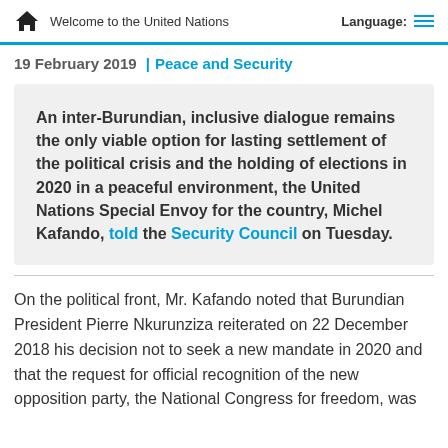Welcome to the United Nations | Language:
19 February 2019 | Peace and Security
An inter-Burundian, inclusive dialogue remains the only viable option for lasting settlement of the political crisis and the holding of elections in 2020 in a peaceful environment, the United Nations Special Envoy for the country, Michel Kafando, told the Security Council on Tuesday.
On the political front, Mr. Kafando noted that Burundian President Pierre Nkurunziza reiterated on 22 December 2018 his decision not to seek a new mandate in 2020 and that the request for official recognition of the new opposition party, the National Congress for freedom, was